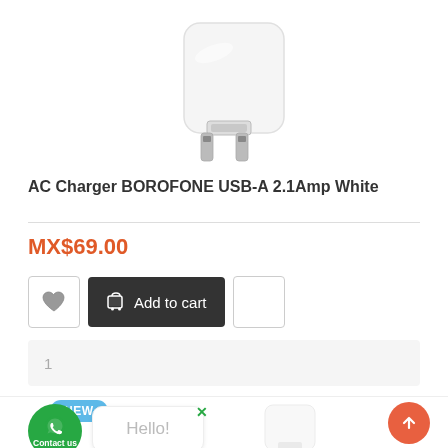[Figure (photo): Product photo of white AC Charger BOROFONE USB-A 2.1Amp, showing a white wall plug charger with US plug prongs on white background]
AC Charger BOROFONE USB-A 2.1Amp White
MX$69.00
[Figure (screenshot): Add to cart button row with heart/wishlist icon, dark Add to cart button with cart icon, and share button]
1
NEW
[Figure (screenshot): WhatsApp Contact us button (green circle), Hello! chat bubble with X close button, and scroll-to-top orange button]